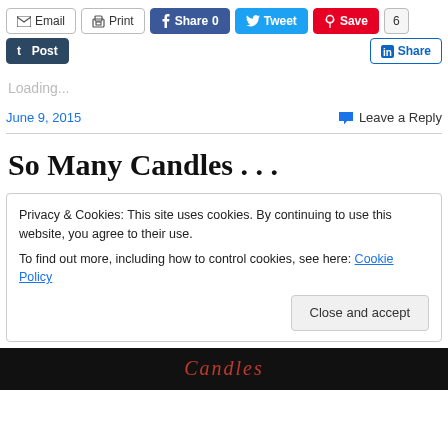Email | Print | Share 0 | Tweet | Save 6 | Post | Share
Loading...
June 9, 2015    Leave a Reply
So Many Candles . . .
Privacy & Cookies: This site uses cookies. By continuing to use this website, you agree to their use. To find out more, including how to control cookies, see here: Cookie Policy
Close and accept
[Figure (photo): Bottom portion of a decorative image with script text reading 'Candles' on a light background]